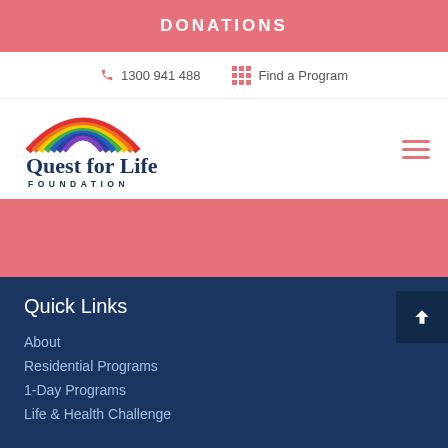DONATIONS
1300 941 488
Find a Program
[Figure (logo): Quest for Life Foundation logo — rainbow arc over dark blue text reading 'Quest for Life' with 'FOUNDATION' below]
Quick Links
About
Residential Programs
1-Day Programs
Life & Health Challenge